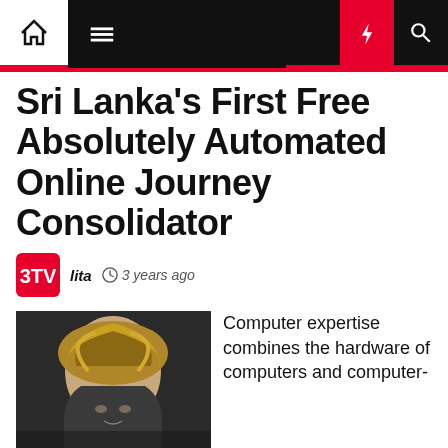Navigation bar with home, menu, moon, flash, and search icons
Sri Lanka's First Free Absolutely Automated Online Journey Consolidator
lita  3 years ago
[Figure (photo): Close-up photo of a woman with blonde highlighted hair]
Computer expertise combines the hardware of computers and computer-